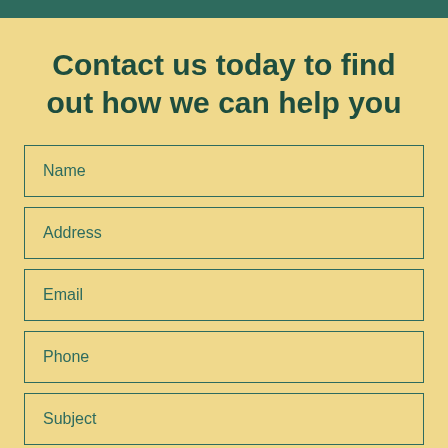Contact us today to find out how we can help you
Name
Address
Email
Phone
Subject